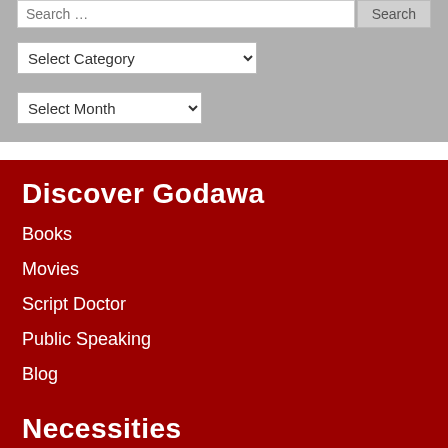Search …
Select Category
Select Month
Discover Godawa
Books
Movies
Script Doctor
Public Speaking
Blog
Necessities
Store
Contact